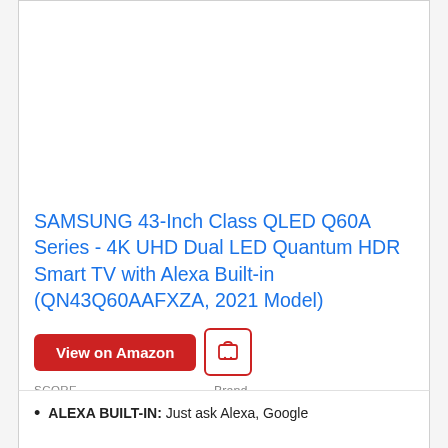SAMSUNG 43-Inch Class QLED Q60A Series - 4K UHD Dual LED Quantum HDR Smart TV with Alexa Built-in (QN43Q60AAFXZA, 2021 Model)
View on Amazon
SCORE
9.2  AI Score
Brand
SAMSUNG
✓Prime
ALEXA BUILT-IN: Just ask Alexa, Google